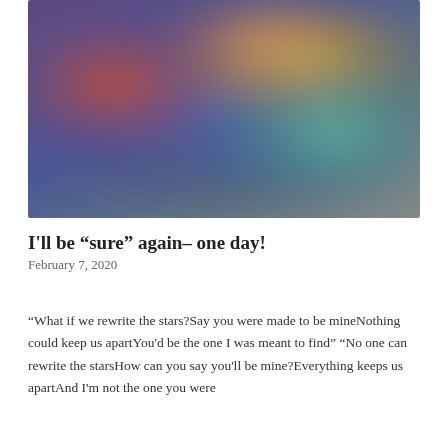[Figure (illustration): Abstract blurred colorful gradient image with red-orange on the left, blue-purple in the center, yellow-green and teal on the right, against a purple/grey background.]
I'll be “sure” again- one day!
February 7, 2020
“What if we rewrite the stars?Say you were made to be mineNothing could keep us apartYou'd be the one I was meant to find” “No one can rewrite the starsHow can you say you'll be mine?Everything keeps us apartAnd I'm not the one you were